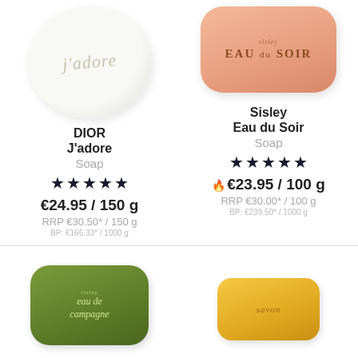[Figure (photo): Round white creamy soap bar with 'j'adore' embossed text - DIOR product]
DIOR
J'adore
Soap
[Figure (infographic): 5 filled dark stars rating]
€24.95 / 150 g
RRP €30.50* / 150 g
BP: €166.33* / 1000 g
[Figure (photo): Peach/salmon rectangular rounded soap bar with 'EAU du SOIR' embossed text - Sisley product]
Sisley
Eau du Soir
Soap
[Figure (infographic): 5 filled dark stars rating]
🔥 €23.95 / 100 g
RRP €30.00* / 100 g
BP: €239.50* / 1000 g
[Figure (photo): Green rectangular rounded soap bar with 'eau de campagne' embossed text - Sisley product]
[Figure (photo): Yellow/golden rectangular rounded soap bar - product]